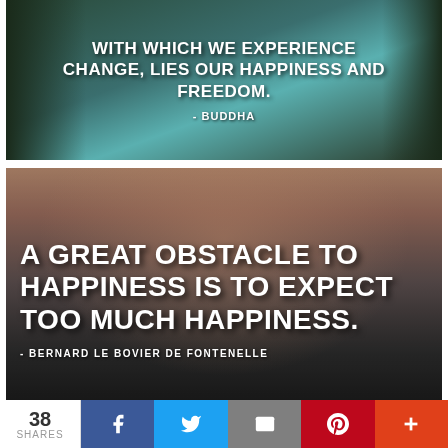[Figure (photo): Scenic teal lake with dark trees framing sides, white bold text quote about change, happiness and freedom attributed to Buddha]
[Figure (photo): Bare feet on dark pebbles/rocks, white bold text quote about obstacle to happiness attributed to Bernard Le Bovier de Fontenelle]
38 SHARES